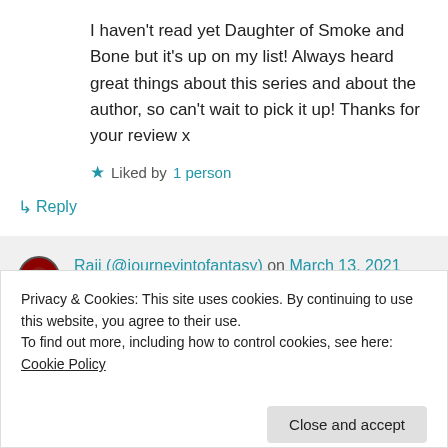I haven't read yet Daughter of Smoke and Bone but it's up on my list! Always heard great things about this series and about the author, so can't wait to pick it up! Thanks for your review x
★ Liked by 1 person
↳ Reply
Raji (@journeyintofantasy) on March 13, 2021 at 4:51 pm
Privacy & Cookies: This site uses cookies. By continuing to use this website, you agree to their use.
To find out more, including how to control cookies, see here: Cookie Policy
Close and accept